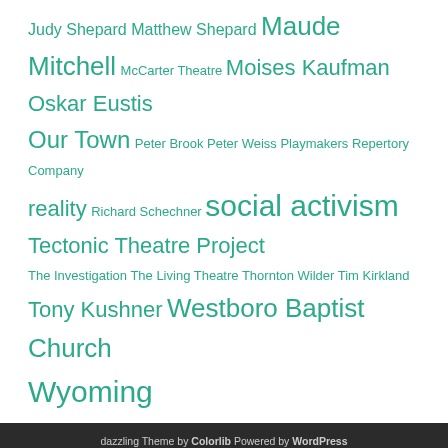Judy Shepard Matthew Shepard Maude Mitchell McCarter Theatre Moises Kaufman Oskar Eustis Our Town Peter Brook Peter Weiss Playmakers Repertory Company reality Richard Schechner social activism Tectonic Theatre Project The Investigation The Living Theatre Thornton Wilder Tim Kirkland Tony Kushner Westboro Baptist Church Wyoming
dazzling Theme by Colorlib Powered by WordPress
[Figure (logo): Duke University logo with blue text]
The Laramie Project is powered by WordPress at Duke WordPress Sites. Please read the Duke Wordpress Policies. Contact the Duke WordPress team.